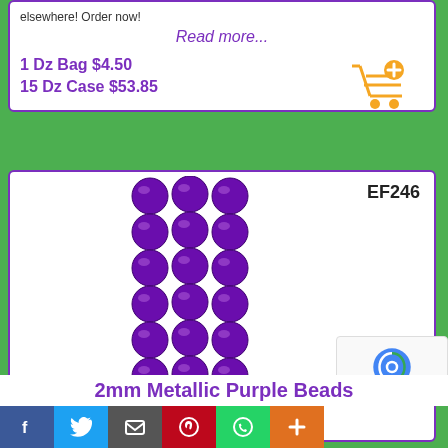elsewhere! Order now!
Read more...
1 Dz Bag $4.50
15 Dz Case $53.85
[Figure (photo): String of metallic purple round beads product photo, shown vertically stacked in multiple rows]
EF246
2mm Metallic Purple Beads